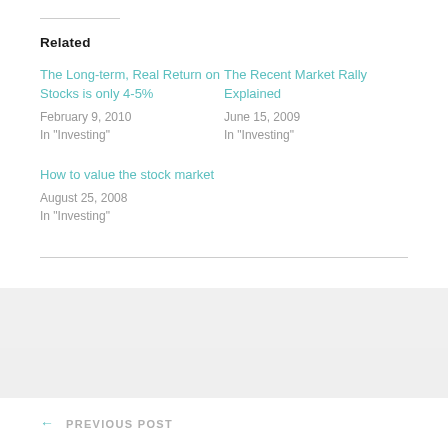Related
The Long-term, Real Return on Stocks is only 4-5%
February 9, 2010
In "Investing"
The Recent Market Rally Explained
June 15, 2009
In "Investing"
How to value the stock market
August 25, 2008
In "Investing"
PREVIOUS POST